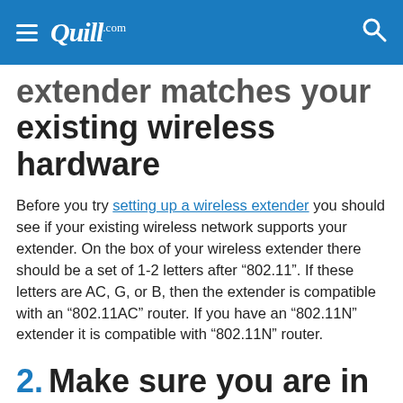Quill.com
extender matches your existing wireless hardware
Before you try setting up a wireless extender you should see if your existing wireless network supports your extender. On the box of your wireless extender there should be a set of 1-2 letters after “802.11”. If these letters are AC, G, or B, then the extender is compatible with an “802.11AC” router. If you have an “802.11N” extender it is compatible with “802.11N” router.
2.  Make sure you are in range of the wireless base station